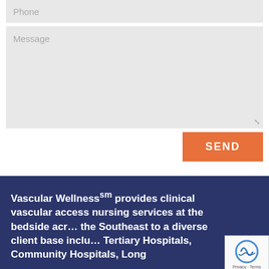Phone
Message
SEND
Vascular Wellnesssm provides clinical vascular access nursing services at the bedside across the Southeast to a diverse client base including Tertiary Hospitals, Community Hospitals, Long